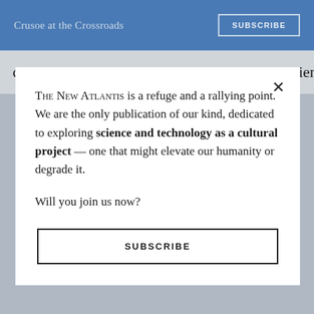Crusoe at the Crossroads
covenant to God, but two torn asunder. And science
THE NEW ATLANTIS is a refuge and a rallying point. We are the only publication of our kind, dedicated to exploring science and technology as a cultural project — one that might elevate our humanity or degrade it.

Will you join us now?
SUBSCRIBE